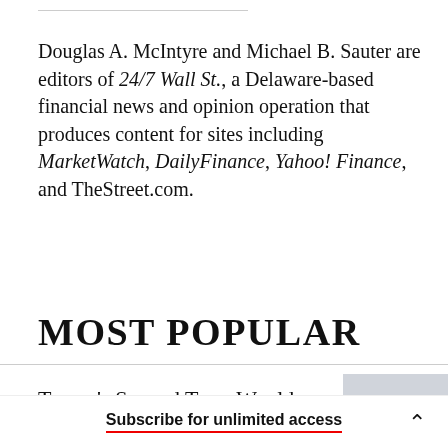Douglas A. McIntyre and Michael B. Sauter are editors of 24/7 Wall St., a Delaware-based financial news and opinion operation that produces content for sites including MarketWatch, DailyFinance, Yahoo! Finance, and TheStreet.com.
MOST POPULAR
Trump's Second Term Would
Subscribe for unlimited access